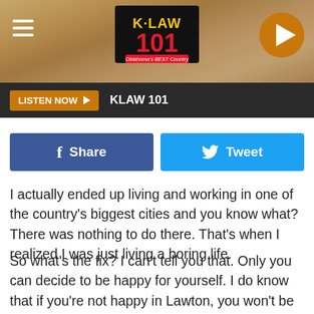[Figure (logo): K-LAW 101 Oklahoma's Best Country radio station header banner with sandy/earthy textured background, hamburger menu icon on left, K-LAW 101 logo in center, play button circle on right]
LISTEN NOW ▶  KLAW 101
[Figure (other): Facebook Share button (blue) and Twitter Tweet button (cyan) social sharing buttons]
I actually ended up living and working in one of the country's biggest cities and you know what? There was nothing to do there. That's when I realized I was just living a boring life.
So what's the fix? I can't tell you that. Only you can decide to be happy for yourself. I do know that if you're not happy in Lawton, you won't be happy at the next place you end up. You have to create happiness, it doesn't just happen on its own. Force yourself to get up and go do something. Take a walk, meet your neighbors, make new less-boring friends. Go into the mountains, get out of the car and explore it. Hit the